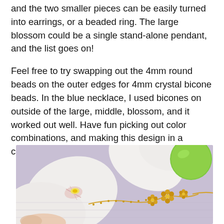and the two smaller pieces can be easily turned into earrings, or a beaded ring. The large blossom could be a single stand-alone pendant, and the list goes on!
Feel free to try swapping out the 4mm round beads on the outer edges for 4mm crystal bicone beads. In the blue necklace, I used bicones on outside of the large, middle, blossom, and it worked out well. Have fun picking out color combinations, and making this design in a completely different palette, if you'd like!
[Figure (photo): A photograph of a gold beaded blossom necklace laid on a light purple/lavender surface, with white orchid flowers and a green lime in the background.]